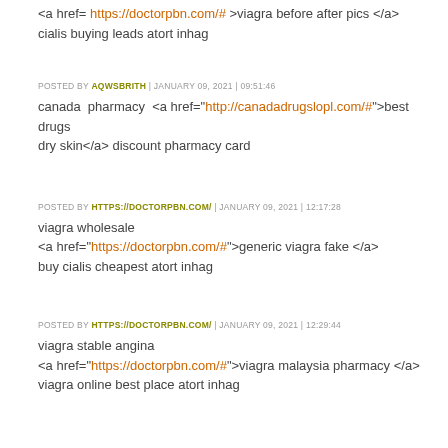<a href= https://doctorpbn.com/# >viagra before after pics </a> cialis buying leads atort inhag
POSTED BY AQWSBRITH | JANUARY 09, 2021 | 09:51:46
canada pharmacy <a href="http://canadadrugslopl.com/#">best drugs dry skin</a> discount pharmacy card
POSTED BY HTTPS://DOCTORPBN.COM/ | JANUARY 09, 2021 | 12:17:28
viagra wholesale
<a href="https://doctorpbn.com/#">generic viagra fake </a>
buy cialis cheapest atort inhag
POSTED BY HTTPS://DOCTORPBN.COM/ | JANUARY 09, 2021 | 12:29:44
viagra stable angina
<a href="https://doctorpbn.com/#">viagra malaysia pharmacy </a>
viagra online best place atort inhag